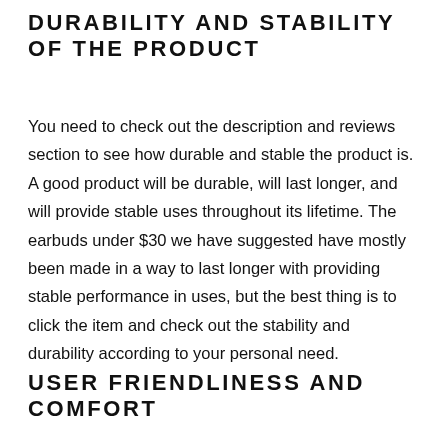DURABILITY AND STABILITY OF THE PRODUCT
You need to check out the description and reviews section to see how durable and stable the product is. A good product will be durable, will last longer, and will provide stable uses throughout its lifetime. The earbuds under $30 we have suggested have mostly been made in a way to last longer with providing stable performance in uses, but the best thing is to click the item and check out the stability and durability according to your personal need.
USER FRIENDLINESS AND COMFORT